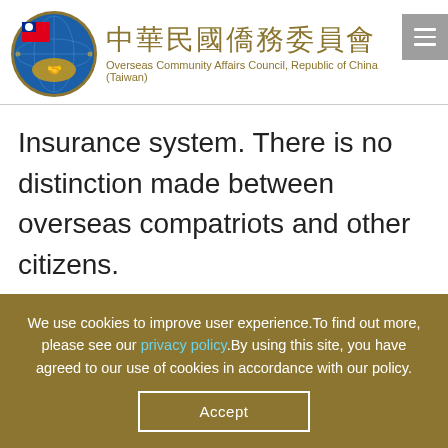[Figure (logo): Overseas Community Affairs Council, Republic of China (Taiwan) logo — circular emblem with Taiwan flag, globe, handshake, and laurel wreath, with Chinese and English name]
Insurance system. There is no distinction made between overseas compatriots and other citizens.
The National Pension is intended to care for
We use cookies to improve user experience.To find out more, please see our privacy policy.By using this site, you have agreed to our use of cookies in accordance with our policy.
Accept